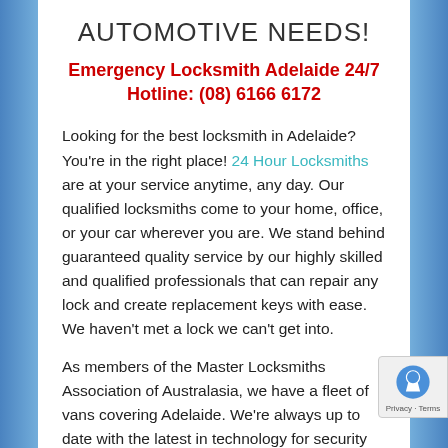AUTOMOTIVE NEEDS!
Emergency Locksmith Adelaide 24/7 Hotline: (08) 6166 6172
Looking for the best locksmith in Adelaide? You're in the right place! 24 Hour Locksmiths are at your service anytime, any day. Our qualified locksmiths come to your home, office, or your car wherever you are. We stand behind guaranteed quality service by our highly skilled and qualified professionals that can repair any lock and create replacement keys with ease. We haven't met a lock we can't get into.
As members of the Master Locksmiths Association of Australasia, we have a fleet of vans covering Adelaide. We're always up to date with the latest in technology for security keys and keyless entry systems to provide you with